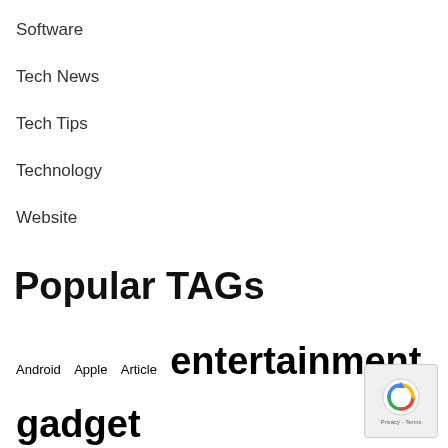Software
Tech News
Tech Tips
Technology
Website
Popular TAGs
Android  Apple  Article  entertainment  gadget  games  gaming  Google  guide  headphone  Netflix  Ranking  review  Samsung  Secret  Series